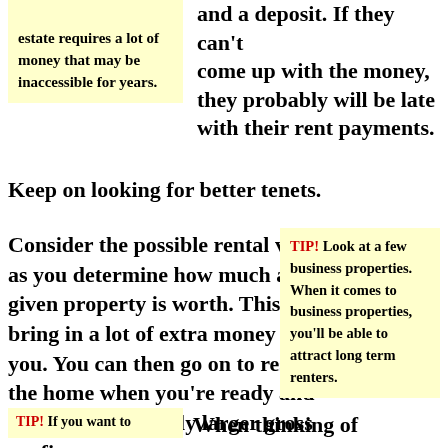estate requires a lot of money that may be inaccessible for years.
and a deposit. If they can't come up with the money, they probably will be late with their rent payments.
Keep on looking for better tenets.
Consider the possible rental values as you determine how much any given property is worth. This can bring in a lot of extra money for you. You can then go on to resell the home when you're ready and make a significantly larger gross profit.
TIP! Look at a few business properties. When it comes to business properties, you'll be able to attract long term renters.
TIP! If you want to
When thinking of